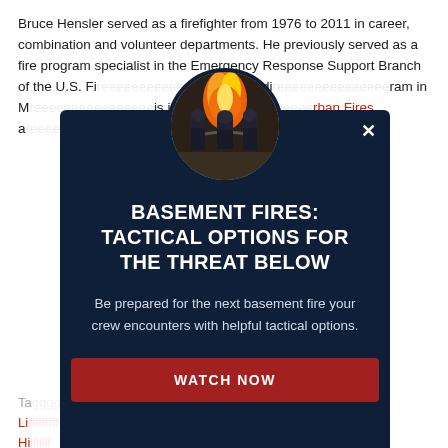Bruce Hensler served as a firefighter from 1976 to 2011 in career, combination and volunteer departments. He previously served as a fire program specialist in the Emergency Response Support Branch of the U.S. Fi... deputy di... ram in M... is interest in... rban Fires a... out his book is... dln.
[Figure (photo): Dark navy modal overlay with a circular photo of firefighters battling a fire with flames visible, overlaid on a webpage background. Modal shows title 'BASEMENT FIRES: TACTICAL OPTIONS FOR THE THREAT BELOW', body text, and a red Watch Now button.]